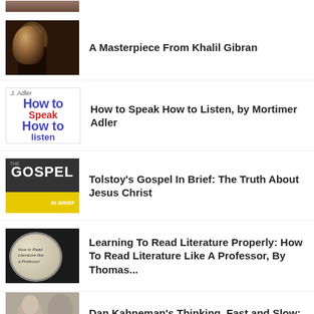[Figure (photo): Partial thumbnail image at top, cropped]
A Masterpiece From Khalil Gibran
How to Speak How to Listen, by Mortimer Adler
Tolstoy's Gospel In Brief: The Truth About Jesus Christ
Learning To Read Literature Properly: How To Read Literature Like A Professor, By Thomas...
Dan Kahneman's Thinking, Fast and Slow: The Cognitive Science Bible